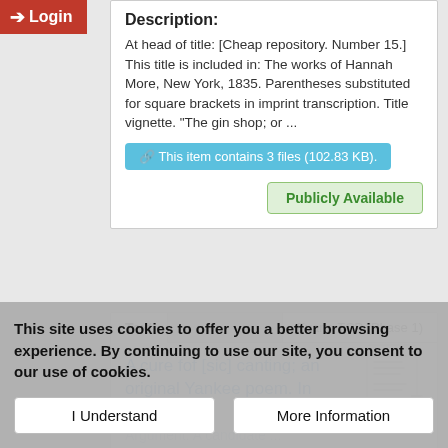[Figure (screenshot): Red login button with arrow icon in top left corner]
Description:
At head of title: [Cheap repository. Number 15.] This title is included in: The works of Hannah More, New York, 1835. Parentheses substituted for square brackets in imprint transcription. Title vignette. "The gin shop; or ...
This item contains 3 files (102.83 KB).
Publicly Available
Text
Evans-TCP (Phase 1)
A cure fof [sic] canting; an original Yankee poem. In two letters... Argument. A candidate ...
This site uses cookies to offer you a better browsing experience. By continuing to use our site, you consent to our use of cookies.